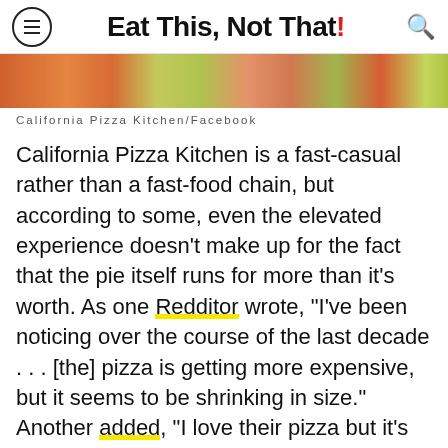Eat This, Not That!
[Figure (photo): Food photo strip showing pizza and other colorful dishes from California Pizza Kitchen]
California Pizza Kitchen/Facebook
California Pizza Kitchen is a fast-casual rather than a fast-food chain, but according to some, even the elevated experience doesn't make up for the fact that the pie itself runs for more than it's worth. As one Redditor wrote, "I've been noticing over the course of the last decade . . . [the] pizza is getting more expensive, but it seems to be shrinking in size." Another added, "I love their pizza but it's such a rip off."